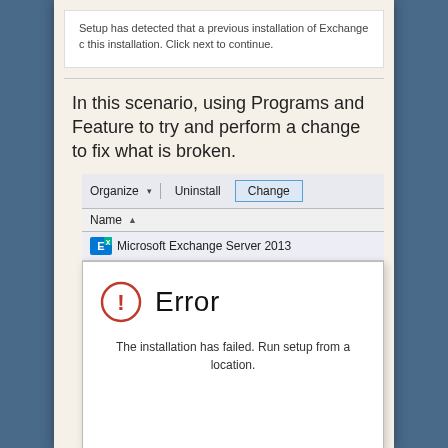[Figure (screenshot): Windows setup dialog showing text: 'Setup has detected that a previous installation of Exchange c this installation. Click next to continue.']
In this scenario, using Programs and Feature to try and perform a change to fix what is broken.
[Figure (screenshot): Windows Programs and Features toolbar with Organize, Uninstall, and Change buttons highlighted. Below is a row showing 'Name' column header with sort arrow, and a row for 'Microsoft Exchange Server 2013' with Exchange icon. An error dialog overlays the bottom: Error icon with exclamation mark, title 'Error', message 'The installation has failed. Run setup from a location.']